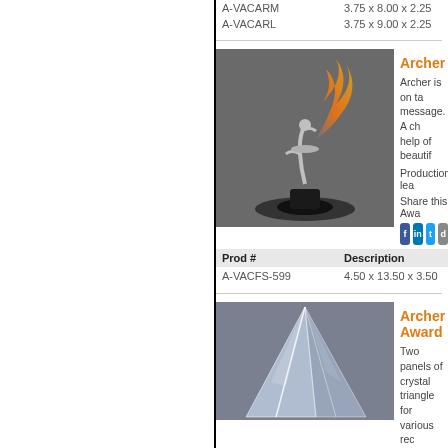| Prod # | Description |
| --- | --- |
| A-VACARM | 3.75 x 8.00 x 2.25 |
| A-VACARL | 3.75 x 9.00 x 2.25 |
Archer
Archer is on ta message. A ch help of beautif
Production lea
Share this Awa
[Figure (photo): Photo of Archer award trophy - a chrome figure holding a colorful flame-like glass element on a black base]
| Prod # | Description |
| --- | --- |
| A-VACFS-599 | 4.50 x 13.50 x 3.50 |
Archer Award
Two panels of crystal triangle for various rec simple yet eleg with their awa
Production le
[Figure (photo): Photo of Archer Award - crystal triangular panels forming a pointed award trophy]